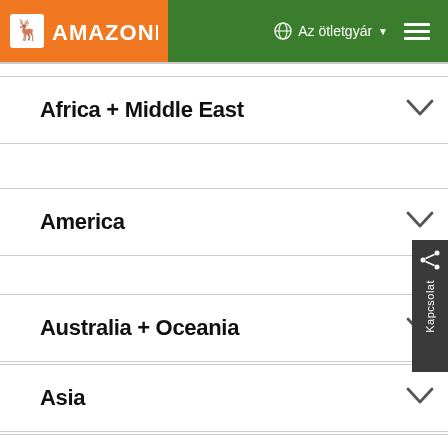AMAZONE | Az ötletgyár
Africa + Middle East
America
Australia + Oceania
Asia